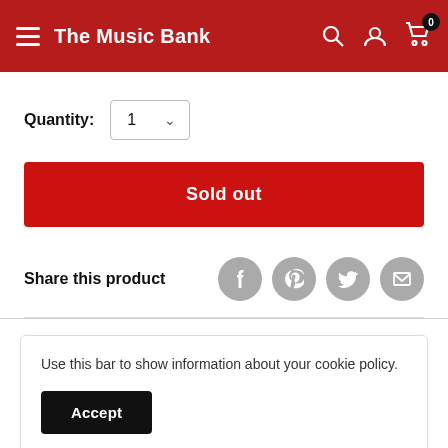The Music Bank
Quantity: 1
Sold out
Share this product
Use this bar to show information about your cookie policy.
Accept
features: 10 user drum kits, 20 preset drum kits, 400